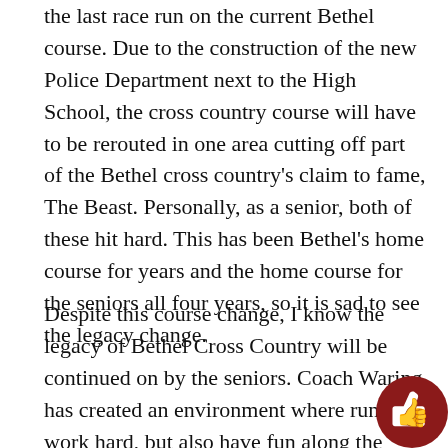the last race run on the current Bethel course. Due to the construction of the new Police Department next to the High School, the cross country course will have to be rerouted in one area cutting off part of the Bethel cross country's claim to fame, The Beast. Personally, as a senior, both of these hit hard. This has been Bethel's home course for years and the home course for the seniors all four years, so it is sad to see the legacy change.
Despite this course change, I know the legacy of Bethel Cross Country will be continued on by the seniors. Coach Waring has created an environment where runners work hard, but also have fun along the way. For many, cross country is their favorite sports season just due to the hard working, but lighthearted atmosphere. Coach Waring has certainly achieved his goal for students to grow a passion for